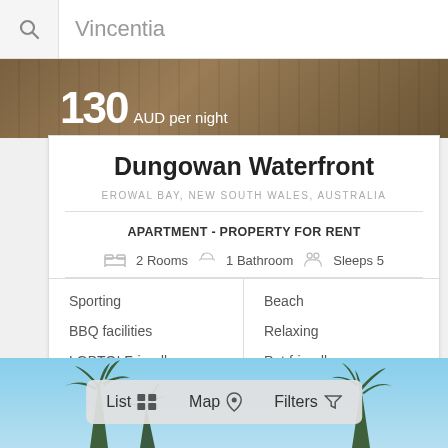Vincentia
[Figure (photo): Top image strip showing wooden floor with price overlay: 130 AUD per night]
Dungowan Waterfront
EROWAL BAY, NEW SOUTH WALES, AUSTRALIA
APARTMENT - PROPERTY FOR RENT
2 Rooms   1 Bathroom   Sleeps 5
Sporting
BBQ facilities
LGBTQI Friendly
Beach
Relaxing
Pet friendly
$130 /1 Night
MORE INFO
[Figure (photo): Bottom image showing palm trees against blue sky]
List   Map   Filters